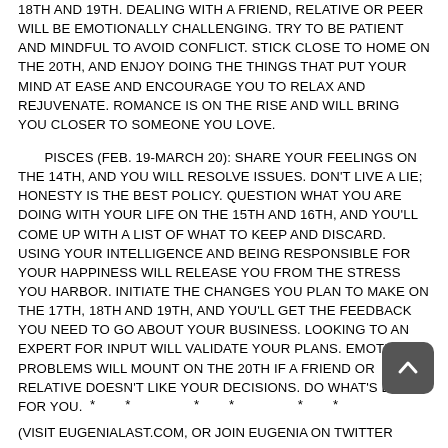18TH AND 19TH. DEALING WITH A FRIEND, RELATIVE OR PEER WILL BE EMOTIONALLY CHALLENGING. TRY TO BE PATIENT AND MINDFUL TO AVOID CONFLICT. STICK CLOSE TO HOME ON THE 20TH, AND ENJOY DOING THE THINGS THAT PUT YOUR MIND AT EASE AND ENCOURAGE YOU TO RELAX AND REJUVENATE. ROMANCE IS ON THE RISE AND WILL BRING YOU CLOSER TO SOMEONE YOU LOVE.
PISCES (FEB. 19-MARCH 20): SHARE YOUR FEELINGS ON THE 14TH, AND YOU WILL RESOLVE ISSUES. DON'T LIVE A LIE; HONESTY IS THE BEST POLICY. QUESTION WHAT YOU ARE DOING WITH YOUR LIFE ON THE 15TH AND 16TH, AND YOU'LL COME UP WITH A LIST OF WHAT TO KEEP AND DISCARD. USING YOUR INTELLIGENCE AND BEING RESPONSIBLE FOR YOUR HAPPINESS WILL RELEASE YOU FROM THE STRESS YOU HARBOR. INITIATE THE CHANGES YOU PLAN TO MAKE ON THE 17TH, 18TH AND 19TH, AND YOU'LL GET THE FEEDBACK YOU NEED TO GO ABOUT YOUR BUSINESS. LOOKING TO AN EXPERT FOR INPUT WILL VALIDATE YOUR PLANS. EMOTIONAL PROBLEMS WILL MOUNT ON THE 20TH IF A FRIEND OR RELATIVE DOESN'T LIKE YOUR DECISIONS. DO WHAT'S BEST FOR YOU.
** ** **
(VISIT EUGENIALAST.COM, OR JOIN EUGENIA ON TWITTER